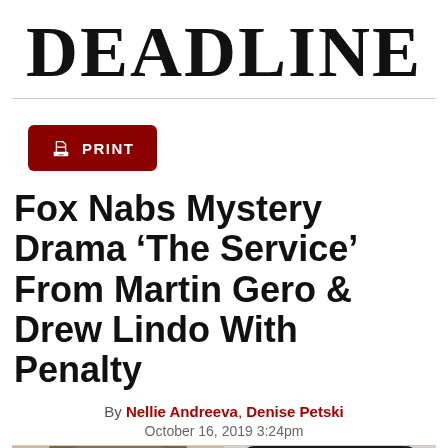DEADLINE
[Figure (screenshot): Red print button with printer icon]
Fox Nabs Mystery Drama ‘The Service’ From Martin Gero & Drew Lindo With Penalty
By Nellie Andreeva, Denise Petski
October 16, 2019 3:24pm
[Figure (photo): Two headshot photos side by side — left person with light brown hair, right person with dark hair]